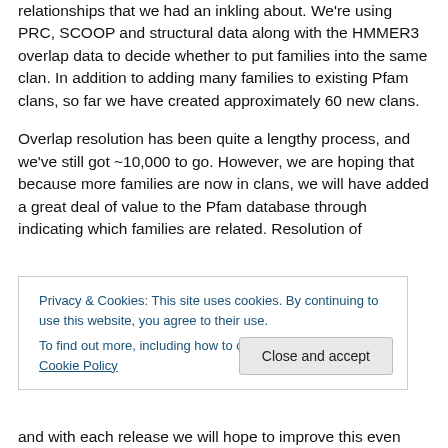relationships that we had an inkling about. We're using PRC, SCOOP and structural data along with the HMMER3 overlap data to decide whether to put families into the same clan. In addition to adding many families to existing Pfam clans, so far we have created approximately 60 new clans.
Overlap resolution has been quite a lengthy process, and we've still got ~10,000 to go. However, we are hoping that because more families are now in clans, we will have added a great deal of value to the Pfam database through indicating which families are related. Resolution of
Privacy & Cookies: This site uses cookies. By continuing to use this website, you agree to their use. To find out more, including how to control cookies, see here: Cookie Policy
and with each release we will hope to improve this even